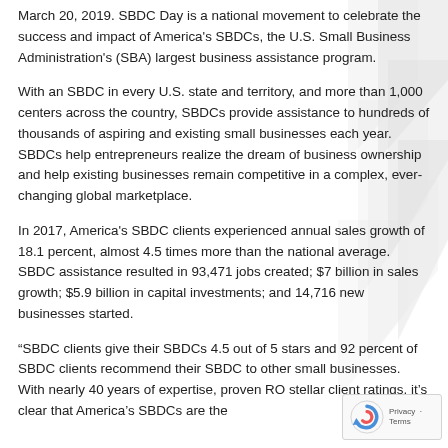March 20, 2019. SBDC Day is a national movement to celebrate the success and impact of America's SBDCs, the U.S. Small Business Administration's (SBA) largest business assistance program.
With an SBDC in every U.S. state and territory, and more than 1,000 centers across the country, SBDCs provide assistance to hundreds of thousands of aspiring and existing small businesses each year. SBDCs help entrepreneurs realize the dream of business ownership and help existing businesses remain competitive in a complex, ever-changing global marketplace.
In 2017, America's SBDC clients experienced annual sales growth of 18.1 percent, almost 4.5 times more than the national average. SBDC assistance resulted in 93,471 jobs created; $7 billion in sales growth; $5.9 billion in capital investments; and 14,716 new businesses started.
“SBDC clients give their SBDCs 4.5 out of 5 stars and 92 percent of SBDC clients recommend their SBDC to other small businesses. With nearly 40 years of expertise, proven RO stellar client ratings, it’s clear that America’s SBDCs are the